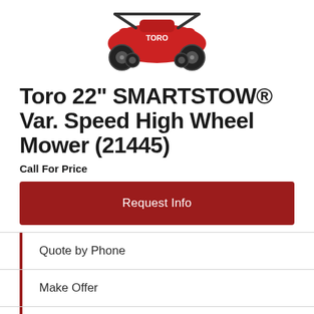[Figure (photo): Red Toro lawn mower product photo shown from front-left angle, with large rear wheels and red body]
Toro 22" SMARTSTOW® Var. Speed High Wheel Mower (21445)
Call For Price
Request Info
Quote by Phone
Make Offer
Request Brochure